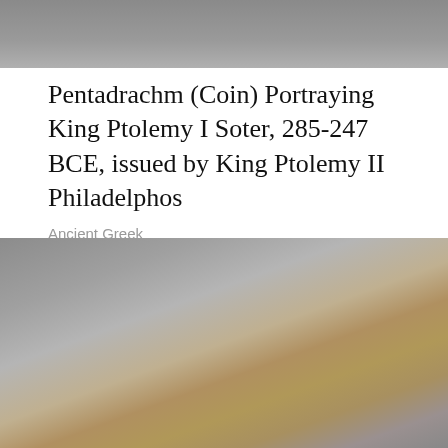[Figure (photo): Gray blurred background image at top of page]
Pentadrachm (Coin) Portraying King Ptolemy I Soter, 285-247 BCE, issued by King Ptolemy II Philadelphos
Ancient Greek
[Figure (photo): Blurred close-up photograph of an ancient Greek coin showing gold/brown tones against gray background]